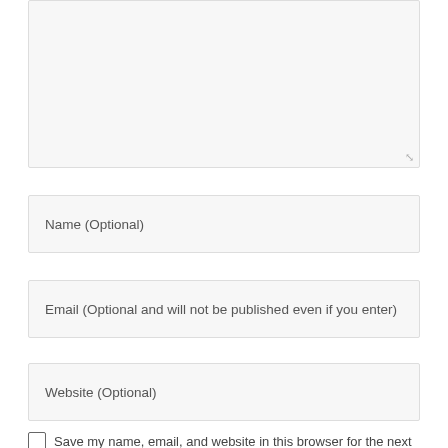[Figure (screenshot): Textarea input box (partially visible at top of page), with a resize handle at bottom-right corner]
Name (Optional)
Email (Optional and will not be published even if you enter)
Website (Optional)
Save my name, email, and website in this browser for the next